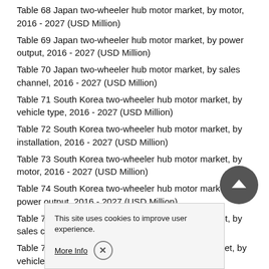Table 68 Japan two-wheeler hub motor market, by motor, 2016 - 2027 (USD Million)
Table 69 Japan two-wheeler hub motor market, by power output, 2016 - 2027 (USD Million)
Table 70 Japan two-wheeler hub motor market, by sales channel, 2016 - 2027 (USD Million)
Table 71 South Korea two-wheeler hub motor market, by vehicle type, 2016 - 2027 (USD Million)
Table 72 South Korea two-wheeler hub motor market, by installation, 2016 - 2027 (USD Million)
Table 73 South Korea two-wheeler hub motor market, by motor, 2016 - 2027 (USD Million)
Table 74 South Korea two-wheeler hub motor market, by power output, 2016 - 2027 (USD Million)
Table 75 South Korea two-wheeler hub motor market, by sales channel, 2016 - 2027 (USD Million)
Table 76 Latin America two-wheeler hub motor market, by vehicle type, 2016 - 2027 (USD Million)
Table 77 Latin America two-wheeler hub motor market, by